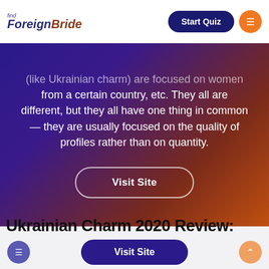find ForeignBride | Start Quiz | Menu
(like Ukrainian charm) are focused on women from a certain country, etc. They all are different, but they all have one thing in common — they are usually focused on the quality of profiles rather than on quantity.
Visit Site
Site reviews
Ukrainian Charm 2020 Review: